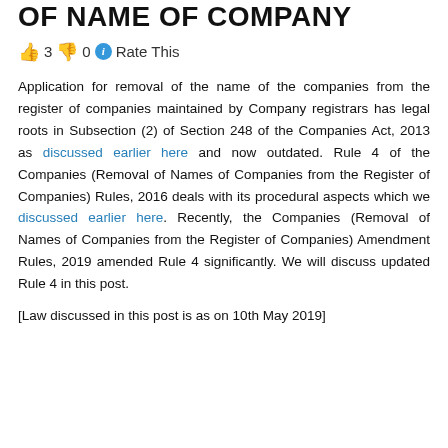OF NAME OF COMPANY
👍 3 👎 0 ℹ Rate This
Application for removal of the name of the companies from the register of companies maintained by Company registrars has legal roots in Subsection (2) of Section 248 of the Companies Act, 2013 as discussed earlier here and now outdated. Rule 4 of the Companies (Removal of Names of Companies from the Register of Companies) Rules, 2016 deals with its procedural aspects which we discussed earlier here. Recently, the Companies (Removal of Names of Companies from the Register of Companies) Amendment Rules, 2019 amended Rule 4 significantly. We will discuss updated Rule 4 in this post.
[Law discussed in this post is as on 10th May 2019]